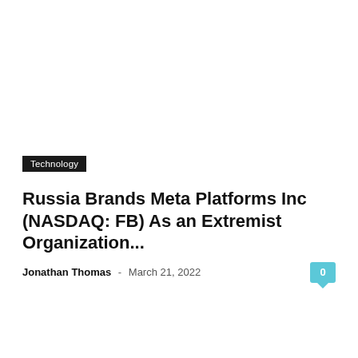Technology
Russia Brands Meta Platforms Inc (NASDAQ: FB) As an Extremist Organization...
Jonathan Thomas - March 21, 2022